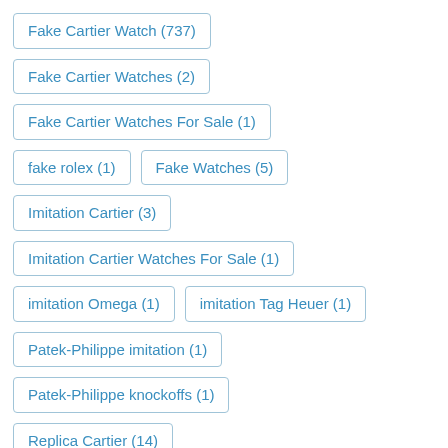Fake Cartier Watch (737)
Fake Cartier Watches (2)
Fake Cartier Watches For Sale (1)
fake rolex (1)
Fake Watches (5)
Imitation Cartier (3)
Imitation Cartier Watches For Sale (1)
imitation Omega (1)
imitation Tag Heuer (1)
Patek-Philippe imitation (1)
Patek-Philippe knockoffs (1)
Replica Cartier (14)
Replica Cartier Watch (13)